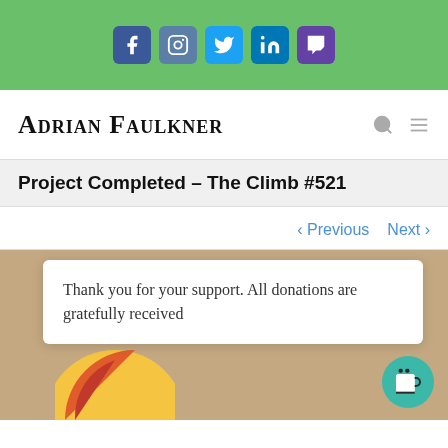[Figure (infographic): Green social media bar with icons for Facebook, Instagram, Twitter, LinkedIn, Twitch]
ADRIAN FAULKNER
Project Completed – The Climb #521
‹ Previous   Next ›
Thank you for your support. All donations are gratefully received